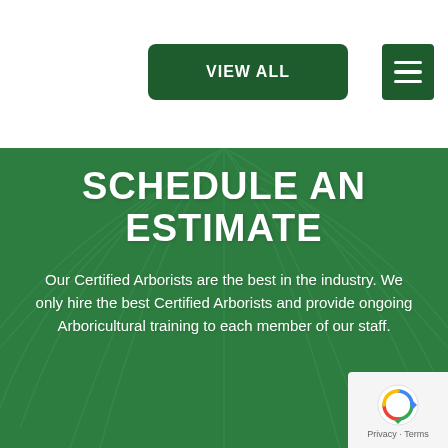[Figure (screenshot): Green 'VIEW ALL' button on white background top section]
[Figure (screenshot): Green hamburger menu button on white background top section]
[Figure (illustration): Green leaf texture background for lower section]
SCHEDULE AN ESTIMATE
Our Certified Arborists are the best in the industry. We only hire the best Certified Arborists and provide ongoing Arboricultural training to each member of our staff.
[Figure (logo): reCAPTCHA badge with Privacy and Terms text]